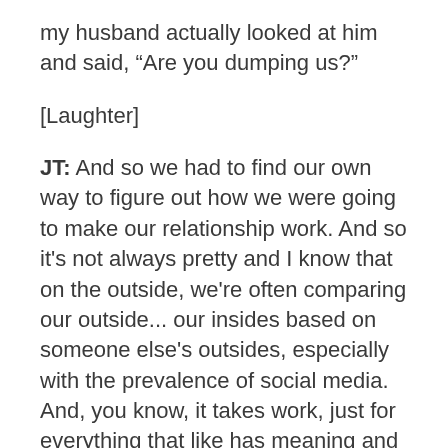my husband actually looked at him and said, “Are you dumping us?”
[Laughter]
JT: And so we had to find our own way to figure out how we were going to make our relationship work. And so it’s not always pretty and I know that on the outside, we’re often comparing our outside... our insides based on someone else’s outsides, especially with the prevalence of social media. And, you know, it takes work, just for everything that like has meaning and the value in life, like it does take devotion and the